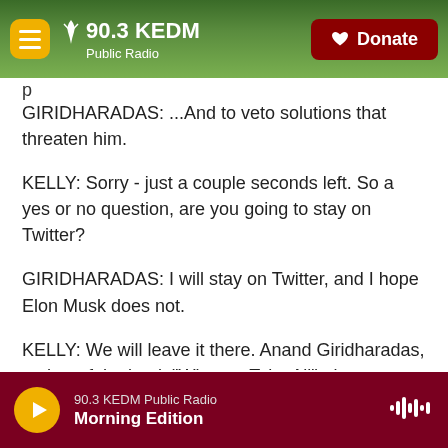90.3 KEDM Public Radio — Donate
GIRIDHARADAS: ...And to veto solutions that threaten him.
KELLY: Sorry - just a couple seconds left. So a yes or no question, are you going to stay on Twitter?
GIRIDHARADAS: I will stay on Twitter, and I hope Elon Musk does not.
KELLY: We will leave it there. Anand Giridharadas, author of the book "Winners Take All" - it was a pleasure. Thanks for talking with us.
90.3 KEDM Public Radio — Morning Edition